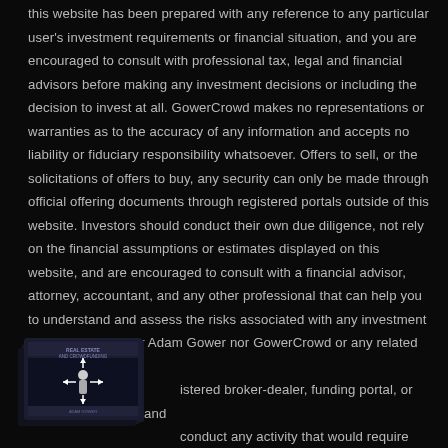this website has been prepared with any reference to any particular user's investment requirements or financial situation, and you are encouraged to consult with professional tax, legal and financial advisors before making any investment decisions or including the decision to invest at all. GowerCrowd makes no representations or warranties as to the accuracy of any information and accepts no liability or fiduciary responsibility whatsoever. Offers to sell, or the solicitations of offers to buy, any security can only be made through official offering documents through registered portals outside of this website. Investors should conduct their own due diligence, not rely on the financial assumptions or estimates displayed on this website, and are encouraged to consult with a financial advisor, attorney, accountant, and any other professional that can help you to understand and assess the risks associated with any investment opportunity. Neither Adam Gower nor GowerCrowd or any related entities istered broker-dealer, funding portal, or investment advisor and conduct any activity that would require any registration as such.
[Figure (illustration): Book cover for 'Real Estate and Crowdfunding' with a person figure and arrows pointing outward, dark background]